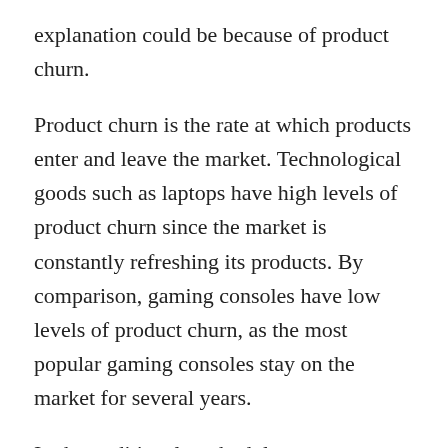explanation could be because of product churn.
Product churn is the rate at which products enter and leave the market. Technological goods such as laptops have high levels of product churn since the market is constantly refreshing its products. By comparison, gaming consoles have low levels of product churn, as the most popular gaming consoles stay on the market for several years.
In the traditional methodology, discontinued products are manually replaced with a similar product and (if needs be) quality adjusted, allowing a stable sample to be followed over time. However, this manual approach is not feasible when the large volume of the data means...